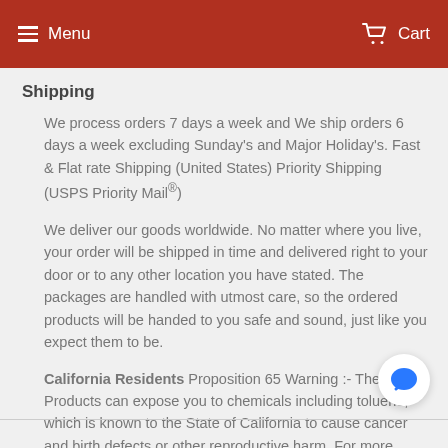Menu  Cart
Shipping
We process orders 7 days a week and We ship orders 6 days a week excluding Sunday's and Major Holiday's. Fast & Flat rate Shipping (United States) Priority Shipping (USPS Priority Mail®)
We deliver our goods worldwide. No matter where you live, your order will be shipped in time and delivered right to your door or to any other location you have stated. The packages are handled with utmost care, so the ordered products will be handed to you safe and sound, just like you expect them to be.
California Residents Proposition 65 Warning :- These Products can expose you to chemicals including toluene, which is known to the State of California to cause cancer and birth defects or other reproductive harm. For more information to www.P65Warnings.ca.gov